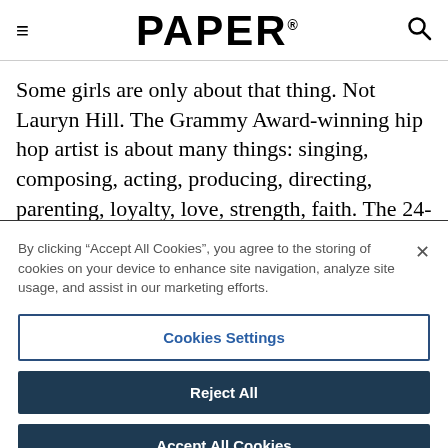PAPER
Some girls are only about that thing. Not Lauryn Hill. The Grammy Award-winning hip hop artist is about many things: singing, composing, acting, producing, directing, parenting, loyalty, love, strength, faith. The 24-year-old New Jersey native joined the Fugees with Wyclef Jean and Pras at 13
By clicking “Accept All Cookies”, you agree to the storing of cookies on your device to enhance site navigation, analyze site usage, and assist in our marketing efforts.
Cookies Settings
Reject All
Accept All Cookies